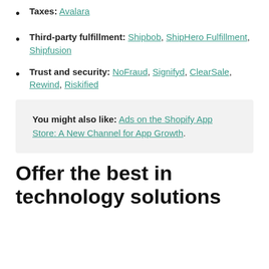Taxes: Avalara
Third-party fulfillment: Shipbob, ShipHero Fulfillment, Shipfusion
Trust and security: NoFraud, Signifyd, ClearSale, Rewind, Riskified
You might also like: Ads on the Shopify App Store: A New Channel for App Growth.
Offer the best in technology solutions